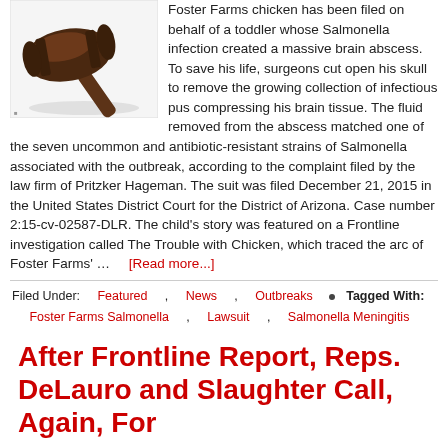[Figure (photo): A judge's gavel on a white background, viewed from an angle showing the mallet head and handle.]
Foster Farms chicken has been filed on behalf of a toddler whose Salmonella infection created a massive brain abscess. To save his life, surgeons cut open his skull to remove the growing collection of infectious pus compressing his brain tissue. The fluid removed from the abscess matched one of the seven uncommon and antibiotic-resistant strains of Salmonella associated with the outbreak, according to the complaint filed by the law firm of Pritzker Hageman. The suit was filed December 21, 2015 in the United States District Court for the District of Arizona. Case number 2:15-cv-02587-DLR. The child's story was featured on a Frontline investigation called The Trouble with Chicken, which traced the arc of Foster Farms' … [Read more...]
Filed Under: Featured , News , Outbreaks • Tagged With: Foster Farms Salmonella , Lawsuit , Salmonella Meningitis
After Frontline Report, Reps. DeLauro and Slaughter Call, Again, For